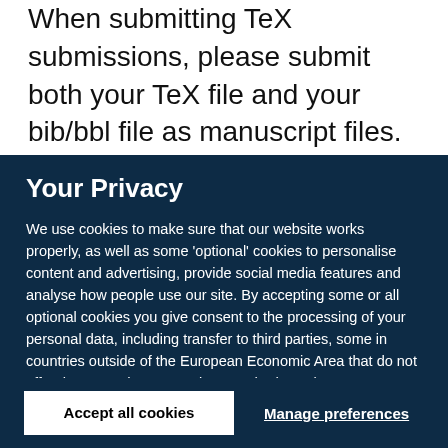When submitting TeX submissions, please submit both your TeX file and your bib/bbl file as manuscript files. Please also convert your TeX file into a PDF (please do not use a DIV file) and submit
Your Privacy
We use cookies to make sure that our website works properly, as well as some ‘optional’ cookies to personalise content and advertising, provide social media features and analyse how people use our site. By accepting some or all optional cookies you give consent to the processing of your personal data, including transfer to third parties, some in countries outside of the European Economic Area that do not offer the same data protection standards as the country where you live. You can decide which optional cookies to accept by clicking on ‘Manage Settings’, where you can also find more information about how your personal data is processed. Further information can be found in our privacy policy.
Accept all cookies
Manage preferences